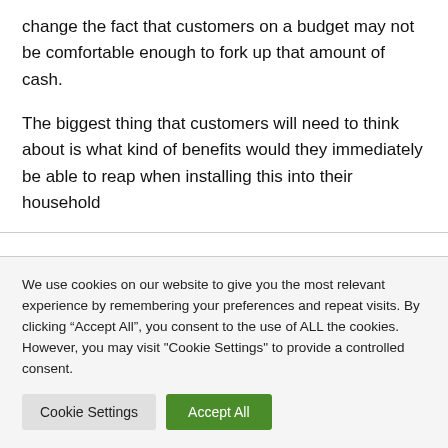change the fact that customers on a budget may not be comfortable enough to fork up that amount of cash.
The biggest thing that customers will need to think about is what kind of benefits would they immediately be able to reap when installing this into their household
We use cookies on our website to give you the most relevant experience by remembering your preferences and repeat visits. By clicking “Accept All”, you consent to the use of ALL the cookies. However, you may visit "Cookie Settings" to provide a controlled consent.